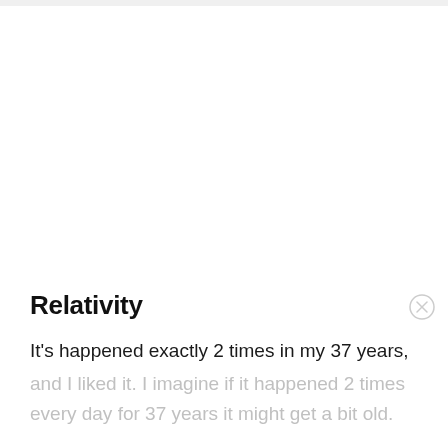Relativity
It's happened exactly 2 times in my 37 years,
and I liked it. I imagine if it happened 2 times every day for 37 years it might get a bit old.